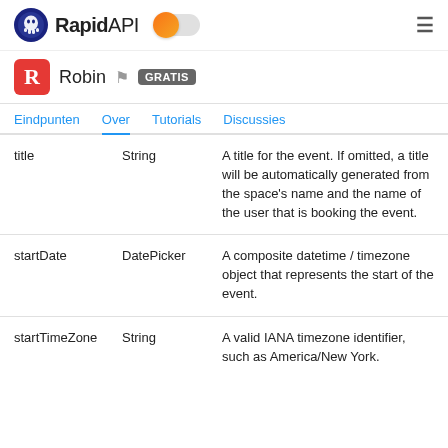RapidAPI — Robin GRATIS
Eindpunten | Over | Tutorials | Discussies
|  |  |  |
| --- | --- | --- |
| title | String | A title for the event. If omitted, a title will be automatically generated from the space's name and the name of the user that is booking the event. |
| startDate | DatePicker | A composite datetime / timezone object that represents the start of the event. |
| startTimeZone | String | A valid IANA timezone identifier, such as America/New York. |